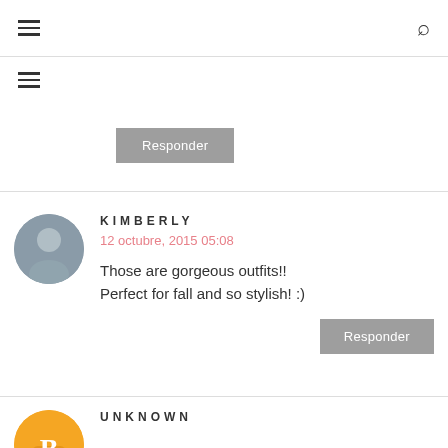≡  🔍
[Figure (illustration): Hamburger menu icon (three horizontal lines)]
Responder
KIMBERLY
12 octubre, 2015 05:08
Those are gorgeous outfits!! Perfect for fall and so stylish! :)
Responder
UNKNOWN